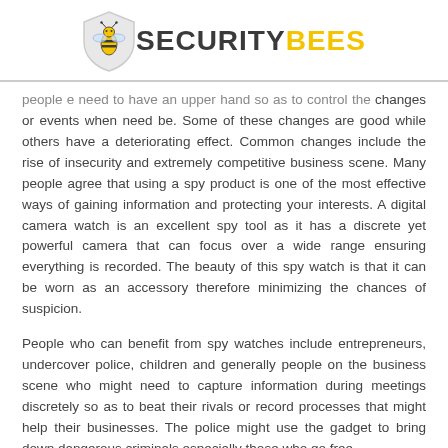[Figure (logo): SecurityBees logo with shield icon containing a bee, followed by bold dark text 'SECURITY' and yellow bold text 'BEES']
people e need to have an upper hand so as to control the changes or events when need be. Some of these changes are good while others have a deteriorating effect. Common changes include the rise of insecurity and extremely competitive business scene. Many people agree that using a spy product is one of the most effective ways of gaining information and protecting your interests. A digital camera watch is an excellent spy tool as it has a discrete yet powerful camera that can focus over a wide range ensuring everything is recorded. The beauty of this spy watch is that it can be worn as an accessory therefore minimizing the chances of suspicion.
People who can benefit from spy watches include entrepreneurs, undercover police, children and generally people on the business scene who might need to capture information during meetings discretely so as to beat their rivals or record processes that might help their businesses. The police might use the gadget to bring down dangerous criminals especially those who go free